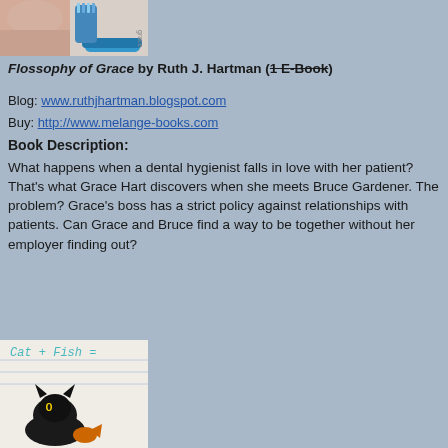[Figure (photo): Book cover for Flossophy of Grace showing a woman's face/neck and a toothbrush]
Flossophy of Grace by Ruth J. Hartman (1 E-Book) [1 E-Book is struck through]
Blog: www.ruthjhartman.blogspot.com
Buy: http://www.melange-books.com
Book Description:
What happens when a dental hygienist falls in love with her patient? That's what Grace Hart discovers when she meets Bruce Gardener. The problem? Grace's boss has a strict policy against relationships with patients. Can Grace and Bruce find a way to be together without her employer finding out?
[Figure (photo): Book cover showing a cat and fish with text 'Cat + Fish =']